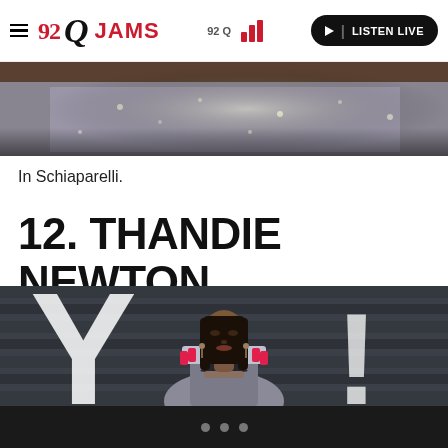92 Q JAMS — 92 Q — LISTEN LIVE
[Figure (photo): Cropped top image strip showing sparkly outfit and dark background — top of a person]
In Schiaparelli.
12. THANDIE NEWTON
[Figure (photo): Thandie Newton in a silver sequined deep-V gown with pink and black embellishments on the shoulders, wearing a choker necklace, standing against a dark striped background with large white letters visible]
• • •